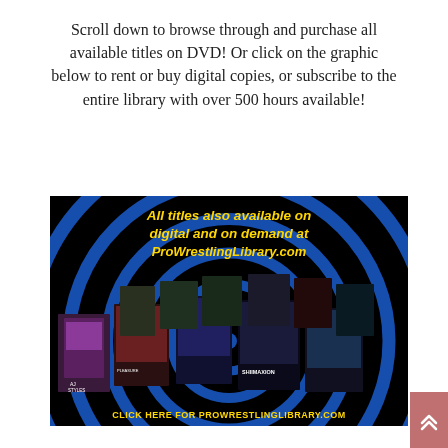Scroll down to browse through and purchase all available titles on DVD! Or click on the graphic below to rent or buy digital copies, or subscribe to the entire library with over 500 hours available!
[Figure (infographic): Black background banner with blue spiral design and DVD covers. Yellow bold italic text reads: 'All titles also available on digital and on demand at ProWrestlingLibrary.com'. Bottom yellow bold text: 'CLICK HERE FOR PROWRESTLINGLIBRARY.COM']